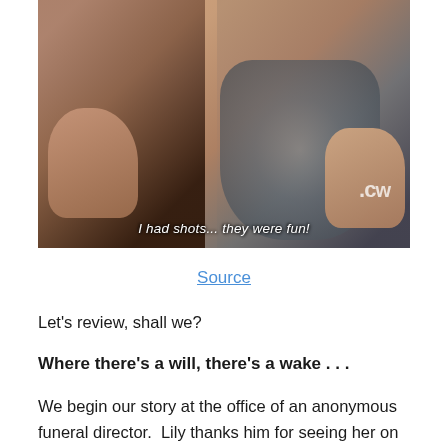[Figure (screenshot): Screenshot from a CW TV show featuring two women. Subtitle text reads: 'I had shots... they were fun!' with the CW network logo visible in the lower right.]
Source
Let's review, shall we?
Where there's a will, there's a wake . . .
We begin our story at the office of an anonymous funeral director.  Lily thanks him for seeing her on such short notice.  So, Funeral Director Guy jokes that in his business, there tends to be little in the way of "advance notice."  (Ahhhh . .. nothing like a little DEAD PEOPLE humor to put you in the mood for a GG episode . . .)